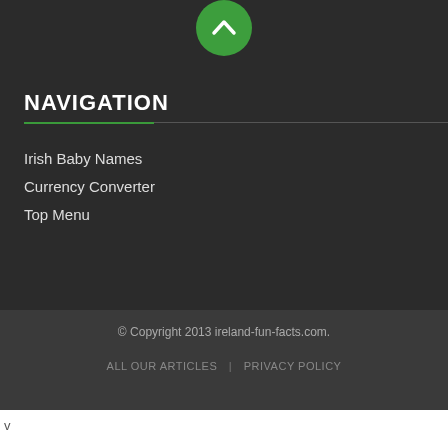[Figure (other): Green circular button with upward chevron arrow at top center]
NAVIGATION
Irish Baby Names
Currency Converter
Top Menu
© Copyright 2013 ireland-fun-facts.com.
ALL OUR ARTICLES  |  PRIVACY POLICY